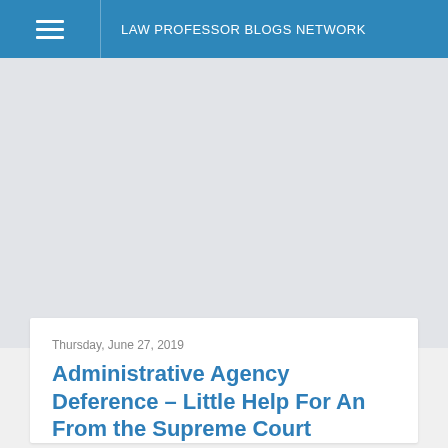LAW PROFESSOR BLOGS NETWORK
[Figure (other): Advertisement placeholder area with light gray background]
Thursday, June 27, 2019
Administrative Agency Deference – Little Help For An From the Supreme Court